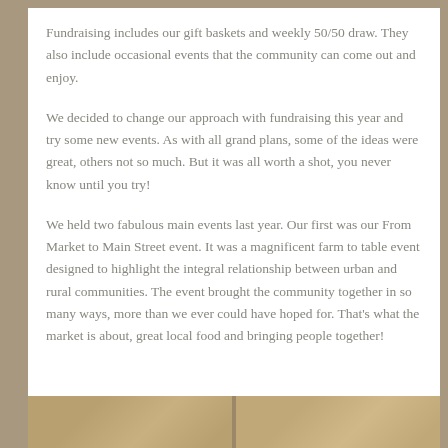Fundraising includes our gift baskets and weekly 50/50 draw. They also include occasional events that the community can come out and enjoy.
We decided to change our approach with fundraising this year and try some new events. As with all grand plans, some of the ideas were great, others not so much. But it was all worth a shot, you never know until you try!
We held two fabulous main events last year. Our first was our From Market to Main Street event. It was a magnificent farm to table event designed to highlight the integral relationship between urban and rural communities. The event brought the community together in so many ways, more than we ever could have hoped for. That's what the market is about, great local food and bringing people together!
[Figure (photo): Partial view of a burlap/fabric textured surface with warm tan and brown tones, visible at the bottom of the page suggesting a market or farm-themed photo strip.]